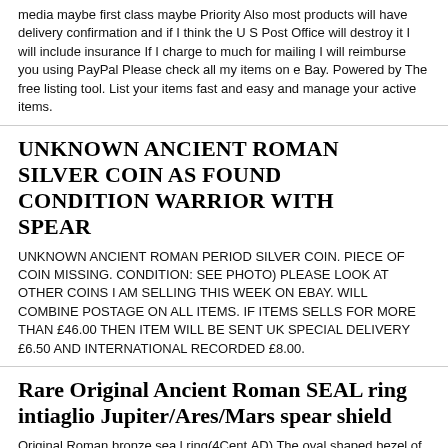media maybe first class maybe Priority Also most products will have delivery confirmation and if I think the U S Post Office will destroy it I will include insurance If I charge to much for mailing I will reimburse you using PayPal Please check all my items on e Bay. Powered by The free listing tool. List your items fast and easy and manage your active items.
UNKNOWN ANCIENT ROMAN SILVER COIN AS FOUND CONDITION WARRIOR WITH SPEAR
UNKNOWN ANCIENT ROMAN PERIOD SILVER COIN. PIECE OF COIN MISSING. CONDITION: SEE PHOTO) PLEASE LOOK AT OTHER COINS I AM SELLING THIS WEEK ON EBAY. WILL COMBINE POSTAGE ON ALL ITEMS. IF ITEMS SELLS FOR MORE THAN £46.00 THEN ITEM WILL BE SENT UK SPECIAL DELIVERY £6.50 AND INTERNATIONAL RECORDED £8.00.
Rare Original Ancient Roman SEAL ring intiaglio Jupiter/Ares/Mars spear shield
Original Roman bronze sea l ring(4Cent.AD) The oval shaped bezel of this ring is d ec orated with Mars Ares or Jupiter holding spear and shield. Measuring 1 7-18 mm. in diameter. US size- 7.5. 5. 09 gm. Original patina. Absolutely genuine and intact. Authenticity guaranteed. Ring is in good Condition and a Very Rare Inclusion to the very finest Antiquity Collection. Authenticity guaranteed. Items of this high grade and preservation are becoming very difficult to obtain. Items will be shipped within 3 business days of purchase completion. FREE DOMESTIC SHIPPING. INTERNATIONAL - $6(REGISTERED-$19.00)